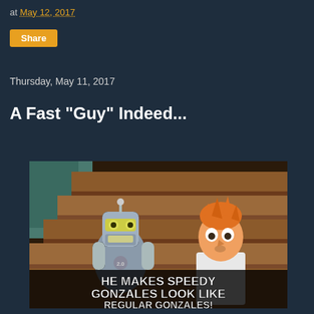at May 12, 2017
Share
Thursday, May 11, 2017
A Fast "Guy" Indeed...
[Figure (illustration): Futurama meme screenshot showing Bender and Fry characters on stairs with caption: HE MAKES SPEEDY GONZALES LOOK LIKE REGULAR GONZALES!]